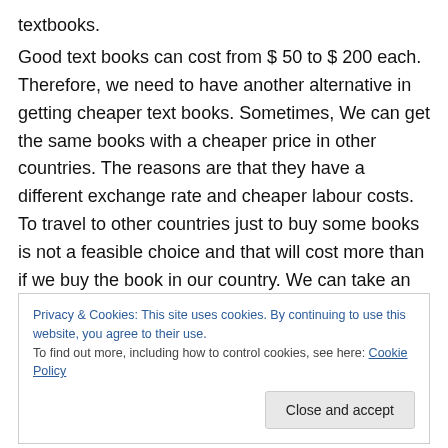textbooks.
Good text books can cost from $ 50 to $ 200 each. Therefore, we need to have another alternative in getting cheaper text books. Sometimes, We can get the same books with a cheaper price in other countries. The reasons are that they have a different exchange rate and cheaper labour costs. To travel to other countries just to buy some books is not a feasible choice and that will cost more than if we buy the book in our country. We can take an advantage of an online classified textbook which will help
Privacy & Cookies: This site uses cookies. By continuing to use this website, you agree to their use.
To find out more, including how to control cookies, see here: Cookie Policy